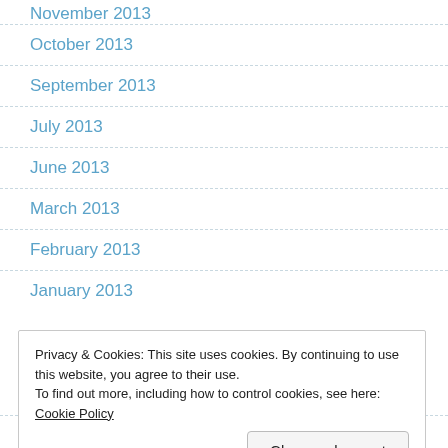November 2013
October 2013
September 2013
July 2013
June 2013
March 2013
February 2013
January 2013
Privacy & Cookies: This site uses cookies. By continuing to use this website, you agree to their use.
To find out more, including how to control cookies, see here: Cookie Policy
October 2012